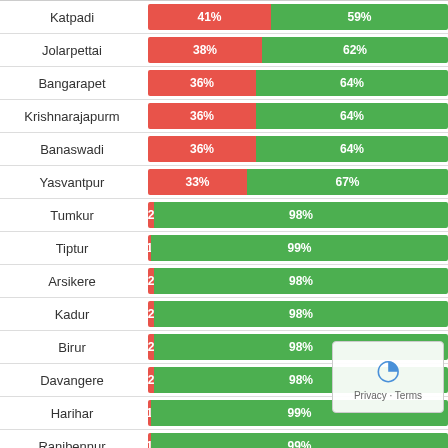[Figure (stacked-bar-chart): Station-wise percentage chart]